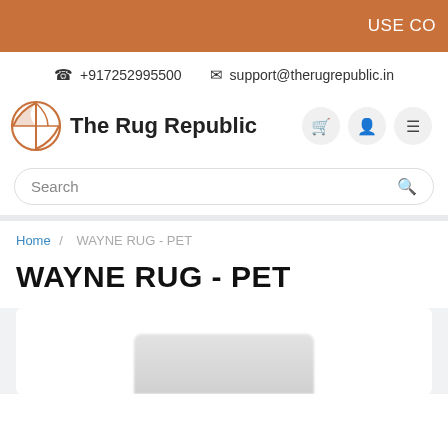USE CO
☎ +917252995500  ✉ support@therugrepublic.in
[Figure (logo): The Rug Republic circular logo with stylized globe/leaf design in orange, followed by bold text 'The Rug Republic']
Search
Home / WAYNE RUG - PET
WAYNE RUG - PET
[Figure (photo): Partially visible product image of a rug, blurred/cropped at the bottom of the page]